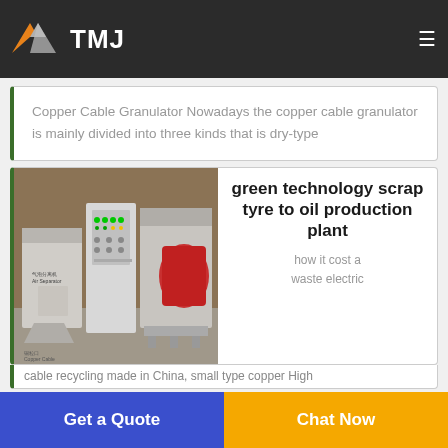TMJ
Copper Cable Granulator Nowadays the copper cable granulator is mainly divided into three kinds that is dry-type
[Figure (photo): Industrial copper cable granulator machine / air separator equipment in a workshop setting]
green technology scrap tyre to oil production plant
how it cost a waste electric
cable recycling made in China, small type copper High
Get a Quote
Chat Now